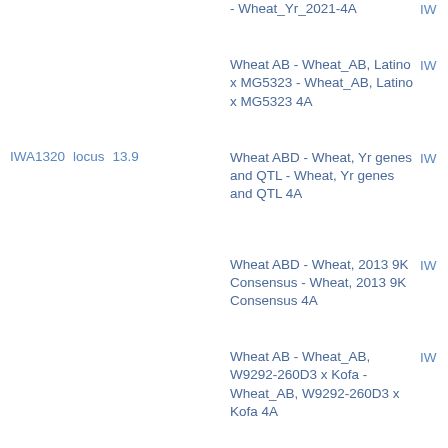- Wheat_Yr_2021-4A   IW
Wheat AB - Wheat_AB, Latino x MG5323 - Wheat_AB, Latino x MG5323 4A   IW
IWA1320   locus   13.9   Wheat ABD - Wheat, Yr genes and QTL - Wheat, Yr genes and QTL 4A   IW
Wheat ABD - Wheat, 2013 9K Consensus - Wheat, 2013 9K Consensus 4A   IW
Wheat AB - Wheat_AB, W9292-260D3 x Kofa - Wheat_AB, W9292-260D3 x Kofa 4A   IW
Wheat ABD - Wheat, Finch x Eltan - Wheat, Finch x Eltan 4A   IW